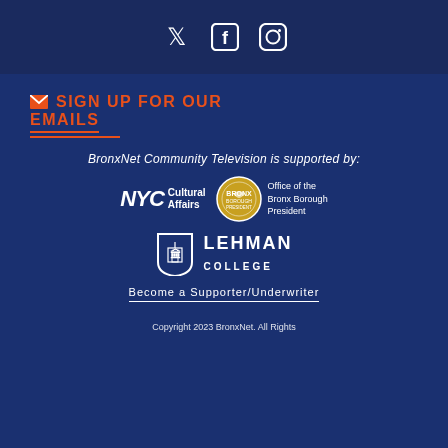[Figure (infographic): Social media icons: Twitter bird, Facebook f, Instagram camera on dark navy background]
✉ SIGN UP FOR OUR EMAILS
BronxNet Community Television is supported by:
[Figure (logo): NYC Cultural Affairs logo and Office of the Bronx Borough President seal with text]
[Figure (logo): Lehman College logo with shield icon]
Become a Supporter/Underwriter
Copyright 2023 BronxNet. All Rights